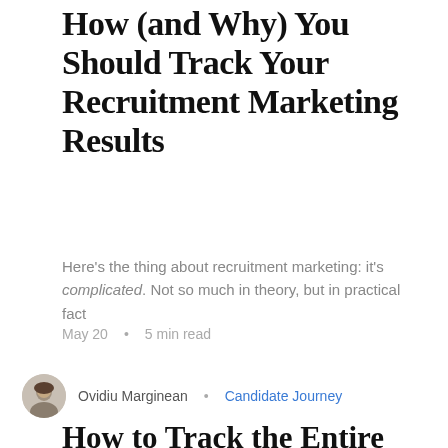How (and Why) You Should Track Your Recruitment Marketing Results
Here's the thing about recruitment marketing: it's complicated. Not so much in theory, but in practical fact
May 20  •  5 min read
Ovidiu Marginean  •  Candidate Journey
How to Track the Entire Talent Acquisition Funnel